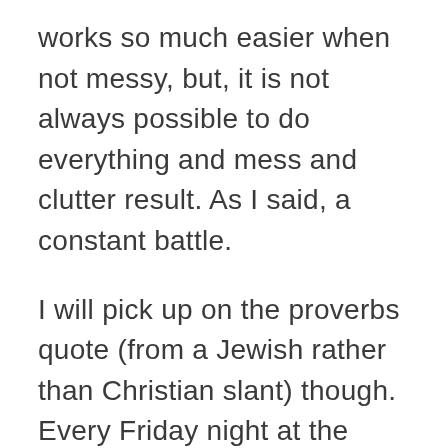works so much easier when not messy, but, it is not always possible to do everything and mess and clutter result. As I said, a constant battle.
I will pick up on the proverbs quote (from a Jewish rather than Christian slant) though. Every Friday night at the beginning of the Sabbath meal, Jewish men sing this poem in praise of their “Woman of Worth”. I actually really like it! It is not saying that we should be able to do everything,